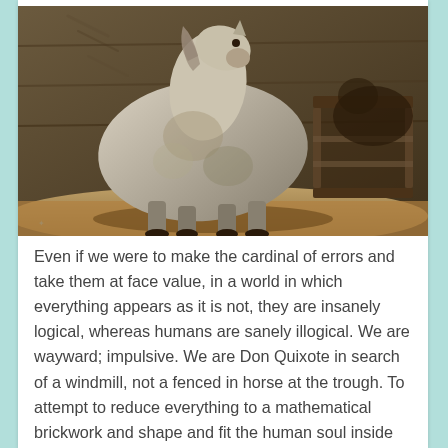[Figure (photo): Oil painting of a white/grey horse standing in a stable or barn, facing right, with a wooden trough or feeding rack visible behind it. The style is impressionistic with dark earthy tones.]
Even if we were to make the cardinal of errors and take them at face value, in a world in which everything appears as it is not, they are insanely logical, whereas humans are sanely illogical. We are wayward; impulsive. We are Don Quixote in search of a windmill, not a fenced in horse at the trough. To attempt to reduce everything to a mathematical brickwork and shape and fit the human soul inside the rooms and corridors of that asylum is a recipe for misery; it is a recipe for exploitation.